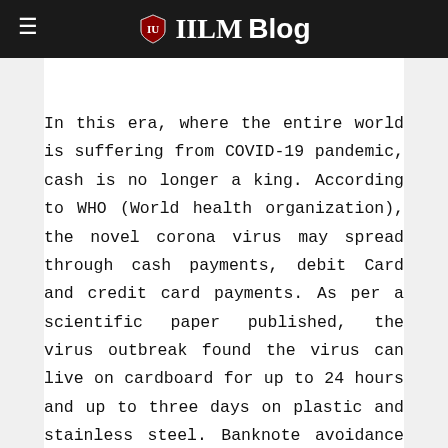IILM Blog
In this era, where the entire world is suffering from COVID-19 pandemic, cash is no longer a king. According to WHO (World health organization), the novel corona virus may spread through cash payments, debit Card and credit card payments. As per a scientific paper published, the virus outbreak found the virus can live on cardboard for up to 24 hours and up to three days on plastic and stainless steel. Banknote avoidance is happening in the U.S., South Korea, Japan and Iran. Germany is the cash loving economy and it has also switch to contactless payment. In India when the corona virus is still in the early phase, this is the right time to adopt the contactless payment as compared to cashless